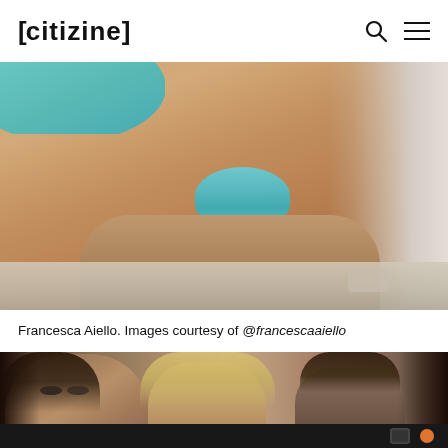[CITIZINE]
[Figure (photo): Close-up photo of person(s) in teal/turquoise bikini swimwear, sunbathing, cropped torso and legs view on a light surface]
Francesca Aiello. Images courtesy of @francescaaiello
[Figure (photo): Photo of three people (two women with long hair, one with shorter dark hair) looking downward, partially visible at bottom of page with dark bar below]